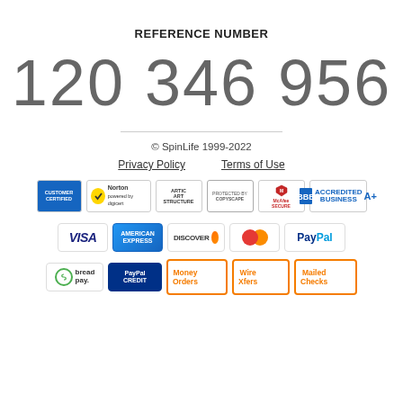REFERENCE NUMBER
120 346 956
© SpinLife 1999-2022
Privacy Policy    Terms of Use
[Figure (logo): Trust badges: Customer Certified, Norton by Digicert, ARTIC ART STRUCTURE, Copyscape, McAfee Secure, BBB Accredited Business A+]
[Figure (logo): Payment method badges: VISA, American Express, Discover, MasterCard, PayPal]
[Figure (logo): Additional payment methods: BreadPay, PayPal Credit, Money Orders, Wire Xfers, Mailed Checks]